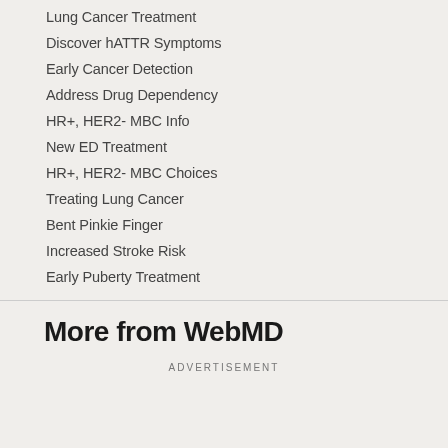Lung Cancer Treatment
Discover hATTR Symptoms
Early Cancer Detection
Address Drug Dependency
HR+, HER2- MBC Info
New ED Treatment
HR+, HER2- MBC Choices
Treating Lung Cancer
Bent Pinkie Finger
Increased Stroke Risk
Early Puberty Treatment
More from WebMD
ADVERTISEMENT